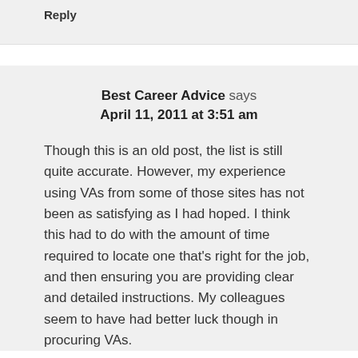financially viable.
Reply
Best Career Advice says
April 11, 2011 at 3:51 am
Though this is an old post, the list is still quite accurate. However, my experience using VAs from some of those sites has not been as satisfying as I had hoped. I think this had to do with the amount of time required to locate one that's right for the job, and then ensuring you are providing clear and detailed instructions. My colleagues seem to have had better luck though in procuring VAs.